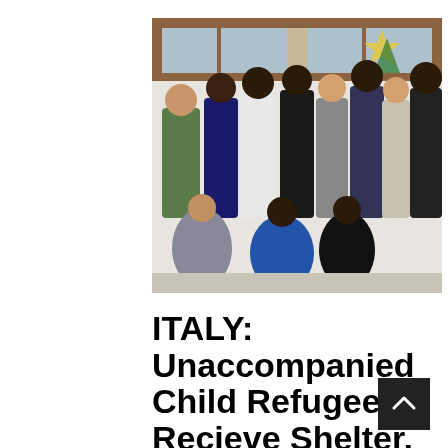[Figure (photo): Group photo of approximately 13 people — a mix of adults and young men, some seated crouching in the front row, others standing in the back — inside a room with windows and a colorful Christmas-themed mural on the wall. Two women and the rest men, diverse group, casual clothing.]
ITALY: Unaccompanied Child Refugees Recieve Shelter, Acceptance from